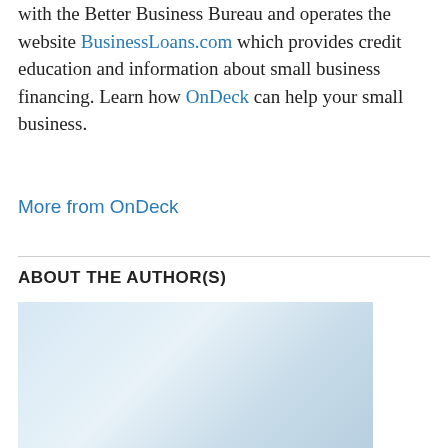with the Better Business Bureau and operates the website BusinessLoans.com which provides credit education and information about small business financing. Learn how OnDeck can help your small business.
More from OnDeck
ABOUT THE AUTHOR(S)
[Figure (photo): Headshot photo of a middle-aged man with grey-brown hair and glasses, wearing a dark jacket, against a light blue/white blurred background.]